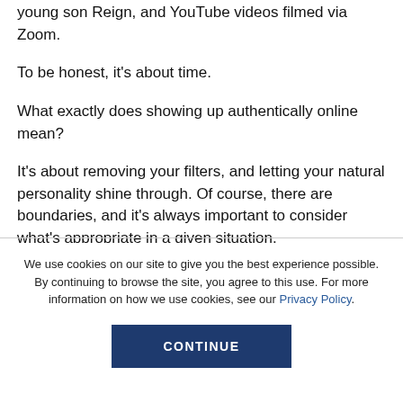young son Reign, and YouTube videos filmed via Zoom.
To be honest, it's about time.
What exactly does showing up authentically online mean?
It's about removing your filters, and letting your natural personality shine through. Of course, there are boundaries, and it's always important to consider what's appropriate in a given situation.
We use cookies on our site to give you the best experience possible. By continuing to browse the site, you agree to this use. For more information on how we use cookies, see our Privacy Policy.
CONTINUE